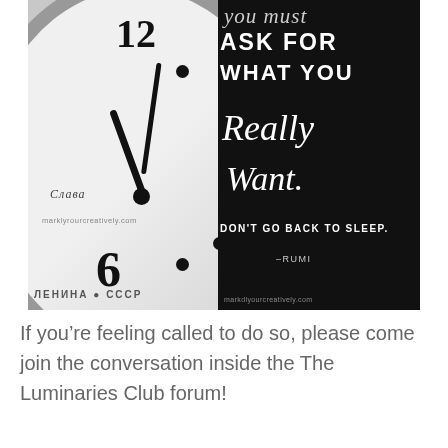[Figure (photo): Black and white photo of a clock face showing approximately 11:58, with Russian branding 'Слава' and 'Сделано в СССР'. On the right side, a dark background with white typography quote: 'you must ASK FOR WHAT YOU Really Want. DON'T GO BACK TO SLEEP. -RUMI' with watermark 'markdyourcreatively.com']
If you're feeling called to do so, please come join the conversation inside the The Luminaries Club forum!